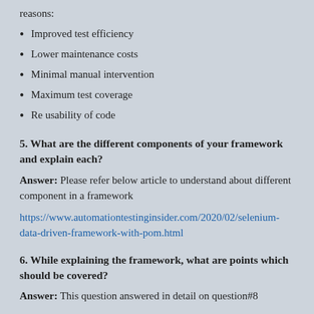reasons:
Improved test efficiency
Lower maintenance costs
Minimal manual intervention
Maximum test coverage
Re usability of code
5. What are the different components of your framework and explain each?
Answer: Please refer below article to understand about different component in a framework
https://www.automationtestinginsider.com/2020/02/selenium-data-driven-framework-with-pom.html
6. While explaining the framework, what are points which should be covered?
Answer: This question answered in detail on question#8
7. How do you decide a particular framework for a project?